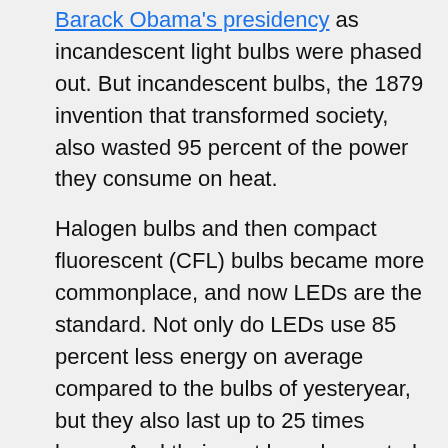Barack Obama's presidency as incandescent light bulbs were phased out. But incandescent bulbs, the 1879 invention that transformed society, also wasted 95 percent of the power they consume on heat.
Halogen bulbs and then compact fluorescent (CFL) bulbs became more commonplace, and now LEDs are the standard. Not only do LEDs use 85 percent less energy on average compared to the bulbs of yesteryear, but they also last up to 25 times longer. And their cost has plummeted, from as much as $20 a few years ago to as cheap as $2 today.